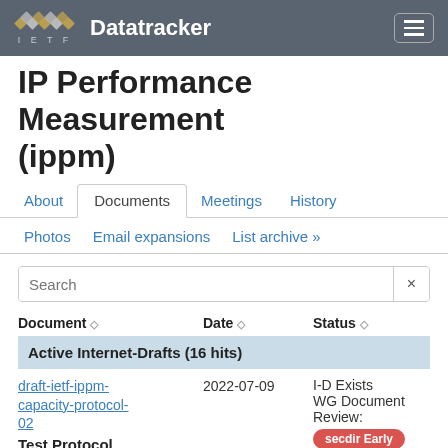IETF Datatracker
IP Performance Measurement (ippm)
About
Documents
Meetings
History
Photos
Email expansions
List archive »
Active Internet-Drafts (16 hits)
| Document | Date | Status |
| --- | --- | --- |
| draft-ietf-ippm-capacity-protocol-02
Test Protocol for One-way IP Capacity | 2022-07-09 | I-D Exists
WG Document
Review:
secdir Early |